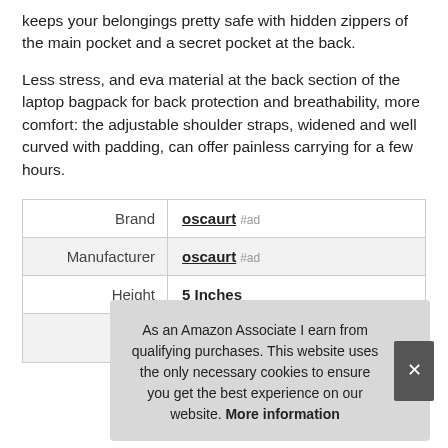keeps your belongings pretty safe with hidden zippers of the main pocket and a secret pocket at the back.
Less stress, and eva material at the back section of the laptop bagpack for back protection and breathability, more comfort: the adjustable shoulder straps, widened and well curved with padding, can offer painless carrying for a few hours.
|  |  |
| --- | --- |
| Brand | oscaurt #ad |
| Manufacturer | oscaurt #ad |
| Height | 5 Inches |
| P |  |
As an Amazon Associate I earn from qualifying purchases. This website uses the only necessary cookies to ensure you get the best experience on our website. More information